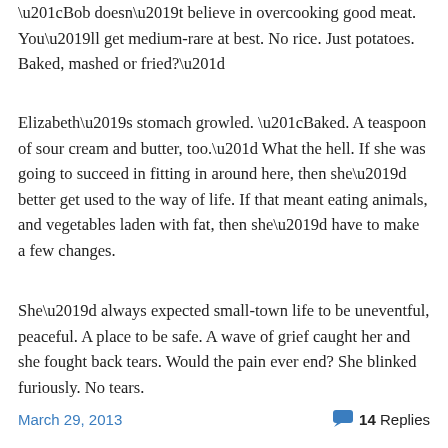“Bob doesn’t believe in overcooking good meat. You’ll get medium-rare at best. No rice. Just potatoes. Baked, mashed or fried?”
Elizabeth’s stomach growled. “Baked. A teaspoon of sour cream and butter, too.” What the hell. If she was going to succeed in fitting in around here, then she’d better get used to the way of life. If that meant eating animals, and vegetables laden with fat, then she’d have to make a few changes.
She’d always expected small-town life to be uneventful, peaceful. A place to be safe. A wave of grief caught her and she fought back tears. Would the pain ever end? She blinked furiously. No tears.
March 29, 2013   14 Replies